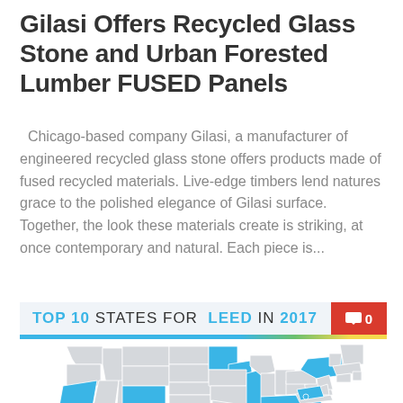Gilasi Offers Recycled Glass Stone and Urban Forested Lumber FUSED Panels
Chicago-based company Gilasi, a manufacturer of engineered recycled glass stone offers products made of fused recycled materials. Live-edge timbers lend natures grace to the polished elegance of Gilasi surface. Together, the look these materials create is striking, at once contemporary and natural. Each piece is...
[Figure (infographic): Infographic titled 'TOP 10 STATES FOR LEED IN 2017' with a red comment badge showing '0', a color bar below the header, and a map of the United States with highlighted blue states representing the top 10 LEED states. Bottom right shows hashtag '#TOP10LEED'.]